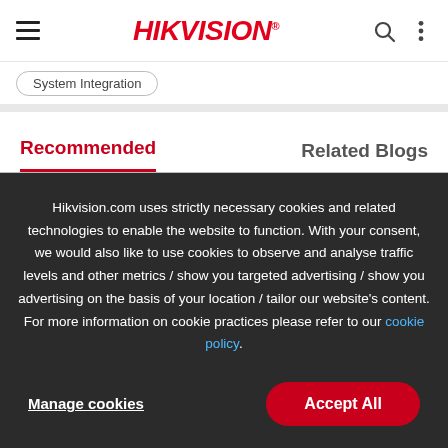HIKVISION
System Integration
Recommended
Related Blogs
Hikvision.com uses strictly necessary cookies and related technologies to enable the website to function. With your consent, we would also like to use cookies to observe and analyse traffic levels and other metrics / show you targeted advertising / show you advertising on the basis of your location / tailor our website's content. For more information on cookie practices please refer to our cookie policy.
Manage cookies
Accept All